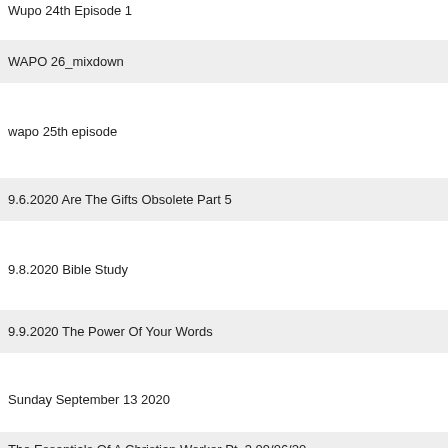Wupo 24th Episode 1
WAPO 26_mixdown
wapo 25th episode
9.6.2020 Are The Gifts Obsolete Part 5
9.8.2020 Bible Study
9.9.2020 The Power Of Your Words
Sunday September 13 2020
The Essentials Of A Christian Worker Pt. 3 09/06/20